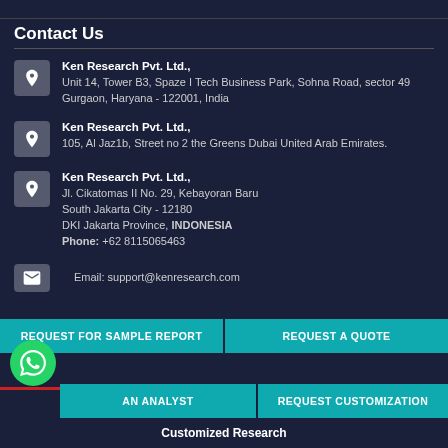Contact Us
Ken Research Pvt. Ltd., Unit 14, Tower B3, Spaze I Tech Business Park, Sohna Road, sector 49 Gurgaon, Haryana - 122001, India
Ken Research Pvt. Ltd., 105, Al Jaz1b, Street no 2 the Greens Dubai United Arab Emirates.
Ken Research Pvt. Ltd., Jl. Cikatomas II No. 29, Kebayoran Baru South Jakarta City - 12180 DKI Jakarta Province, INDONESIA Phone: +62 8115065463
Email: support@kenresearch.com
REQUEST FOR SAMPLE REPORT
REQUEST A QUOTE
AN ANALYST
REQUEST CUSTOMIZATION
Customized Research